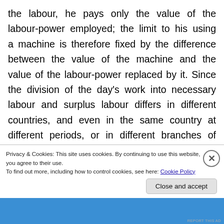the labour, he pays only the value of the labour-power employed; the limit to his using a machine is therefore fixed by the difference between the value of the machine and the value of the labour-power replaced by it. Since the division of the day's work into necessary labour and surplus labour differs in different countries, and even in the same country at different periods, or in different branches of industry; and further, since the actual wage of the worker sometimes sinks below the value of
Privacy & Cookies: This site uses cookies. By continuing to use this website, you agree to their use.
To find out more, including how to control cookies, see here: Cookie Policy
Close and accept